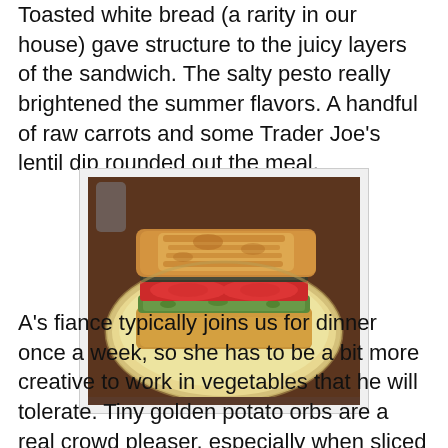Toasted white bread (a rarity in our house) gave structure to the juicy layers of the sandwich. The salty pesto really brightened the summer flavors. A handful of raw carrots and some Trader Joe's lentil dip rounded out the meal.
[Figure (photo): A toasted white bread sandwich with tomato and green pesto on a round plate, photographed on a wooden table.]
A's fiance typically joins us for dinner once a week, so she has to be a bit more creative to work in vegetables that he will tolerate. Tiny golden potato orbs are a real crowd pleaser, especially when sliced and baked under a sprinkled coating of sharp cheddar. We mixed in sweet potato to bulk up the smaller Yukon Golds.